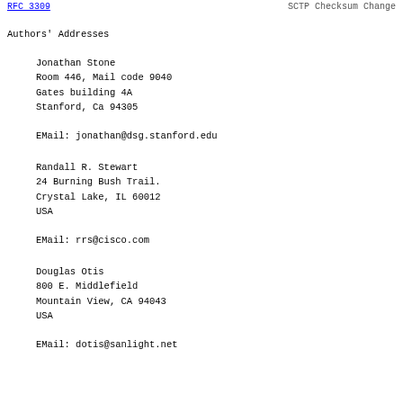RFC 3309    SCTP Checksum Change
Authors' Addresses
Jonathan Stone
Room 446, Mail code 9040
Gates building 4A
Stanford, Ca 94305

EMail: jonathan@dsg.stanford.edu
Randall R. Stewart
24 Burning Bush Trail.
Crystal Lake, IL 60012
USA

EMail: rrs@cisco.com
Douglas Otis
800 E. Middlefield
Mountain View, CA 94043
USA

EMail: dotis@sanlight.net